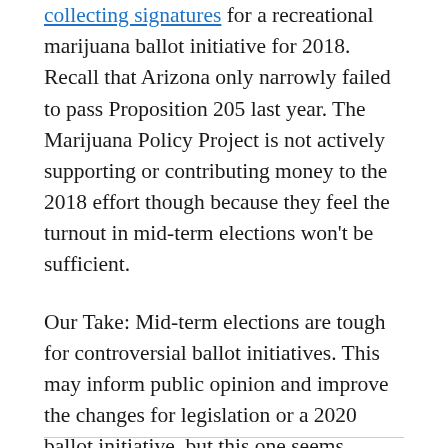collecting signatures for a recreational marijuana ballot initiative for 2018. Recall that Arizona only narrowly failed to pass Proposition 205 last year. The Marijuana Policy Project is not actively supporting or contributing money to the 2018 effort though because they feel the turnout in mid-term elections won't be sufficient.
Our Take: Mid-term elections are tough for controversial ballot initiatives. This may inform public opinion and improve the changes for legislation or a 2020 ballot initiative, but this one seems unlikely to pass, especially without active support for MPP.